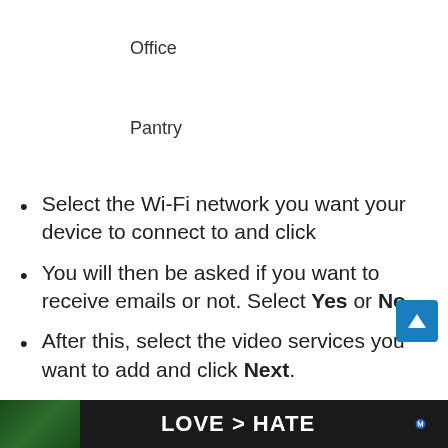Office
Pantry
Select the Wi-Fi network you want your device to connect to and click
You will then be asked if you want to receive emails or not. Select Yes or No.
After this, select the video services you want to add and click Next.
Tap Continue.
[Figure (screenshot): Advertisement banner at bottom: LOVE > HATE with hands forming heart shape, dark background. Blue back-to-top arrow button on right side.]